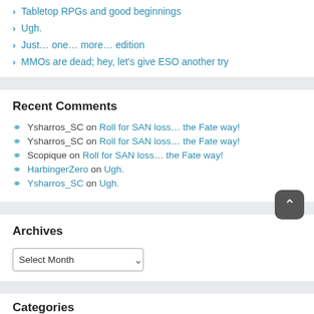Tabletop RPGs and good beginnings
Ugh.
Just… one… more… edition
MMOs are dead; hey, let's give ESO another try
Recent Comments
Ysharros_SC on Roll for SAN loss… the Fate way!
Ysharros_SC on Roll for SAN loss… the Fate way!
Scopique on Roll for SAN loss… the Fate way!
HarbingerZero on Ugh.
Ysharros_SC on Ugh.
Archives
Select Month
Categories